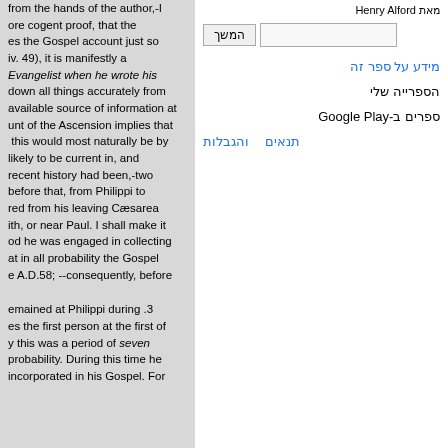from the hands of the author,-I ore cogent proof, that the es the Gospel account just so iv. 49), it is manifestly a Evangelist when he wrote his down all things accurately from available source of information at unt of the Ascension implies that this would most naturally be by likely to be current in, and recent history had been,-two before that, from Philippi to red from his leaving Cæsarea ith, or near Paul. I shall make it od he was engaged in collecting at in all probability the Gospel e A.D.58; --consequently, before
3. remained at Philippi during es the first person at the first of y this was a period of seven probability. During this time he incorporated in his Gospel. For
מאת Henry Alford
המשך
מידע על ספר זה
הספרייה שלי
ספרים ב-Google Play
תנאים והגבלות